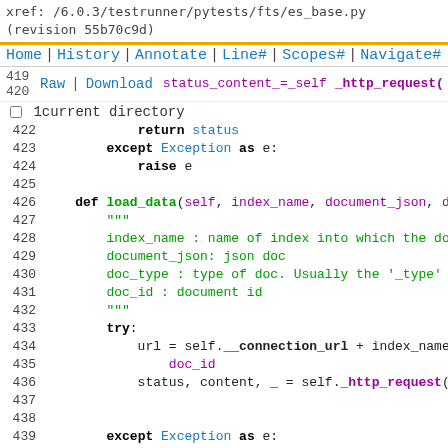xref: /6.0.3/testrunner/pytests/fts/es_base.py
(revision 55b70c9d)
Home | History | Annotate | Line# | Scopes# | Navigate#
419  Raw | Download  [Search box] Search
420
□1 current directory
[Figure (screenshot): Source code viewer showing Python code lines 422-444 from es_base.py]
422        return status
423    except Exception as e:
424        raise e
425
426    def load_data(self, index_name, document_json, d
427        """
428        index_name : name of index into which the do
429        document_json: json doc
430        doc_type : type of doc. Usually the '_type'
431        doc_id : document id
432        """
433        try:
434            url = self.__connection_url + index_name
435                doc_id
436            status, content, _ = self._http_request(
437
438
439        except Exception as e:
440            raise e
441
442    def update_index(self, index_name):
443        """
444        This procedure will refresh index sho...